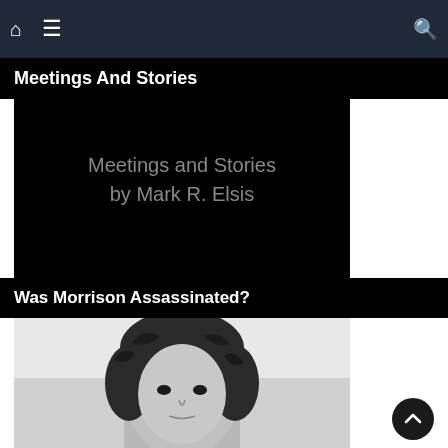Meetings And Stories
[Figure (other): Black image with centered text reading 'Meetings and Stories by Mark R. Elsis']
Was Morrison Assassinated?
[Figure (photo): Black and white photo of a young man with dark curly hair, looking directly at camera]